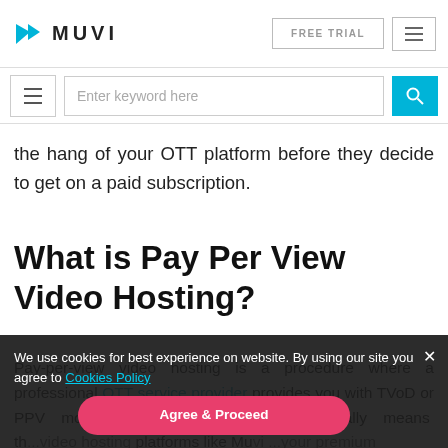MUVI | FREE TRIAL
the hang of your OTT platform before they decide to get on a paid subscription.
What is Pay Per View Video Hosting?
Pay-per-view video hosting is a procedure where a professional OTT service provider provides you with TVoD or PPV monetization capabilities. This basically means that your video hosting platforms like Muvi your premium
We use cookies for best experience on website. By using our site you agree to Cookies Policy